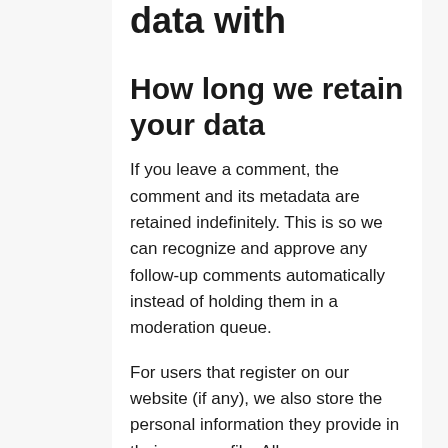data with
How long we retain your data
If you leave a comment, the comment and its metadata are retained indefinitely. This is so we can recognize and approve any follow-up comments automatically instead of holding them in a moderation queue.
For users that register on our website (if any), we also store the personal information they provide in their user profile. All users can see, edit, or delete their personal information at any time (except they cannot change their